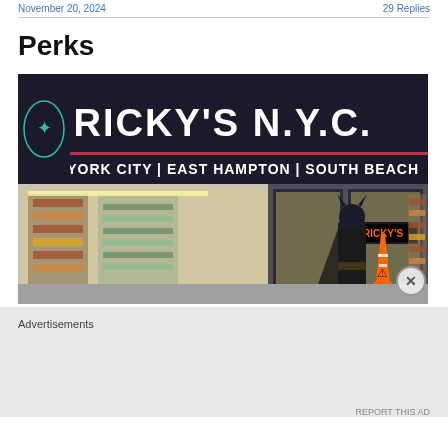November 20, 2024   29 Replies
Perks
[Figure (photo): Exterior storefront photo of Ricky's N.Y.C. store with a dark awning reading 'RICKY'S N.Y.C.' and 'NEW YORK CITY | EAST HAMPTON | SOUTH BEACH'. A person in a Batman costume stands in the doorway alongside an orange safety cone. The store interior is visible through the glass windows showing shelves of products.]
Advertisements
REPORT THIS AD